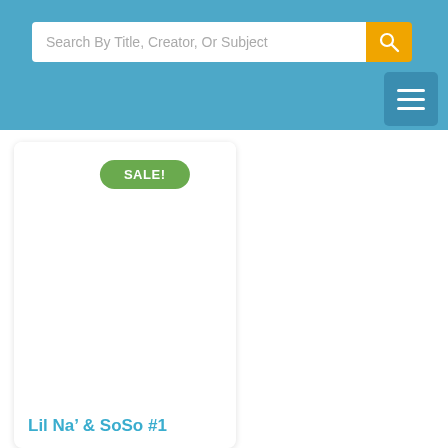Search By Title, Creator, Or Subject
[Figure (screenshot): Product card with SALE! badge and title 'Lil Na' & SoSo #1']
Lil Na' & SoSo #1